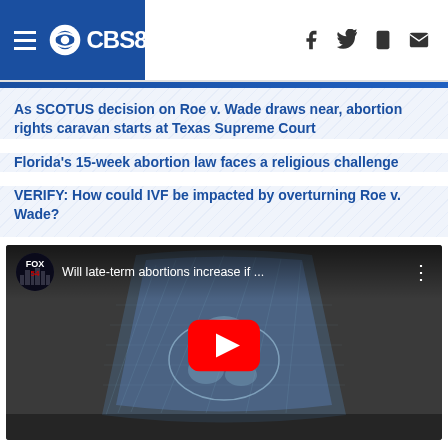CBS8
As SCOTUS decision on Roe v. Wade draws near, abortion rights caravan starts at Texas Supreme Court
Florida's 15-week abortion law faces a religious challenge
VERIFY: How could IVF be impacted by overturning Roe v. Wade?
[Figure (screenshot): YouTube video embed showing FOX54 video titled 'Will late-term abortions increase if ...' with an ultrasound image in the background and a red YouTube play button in the center]